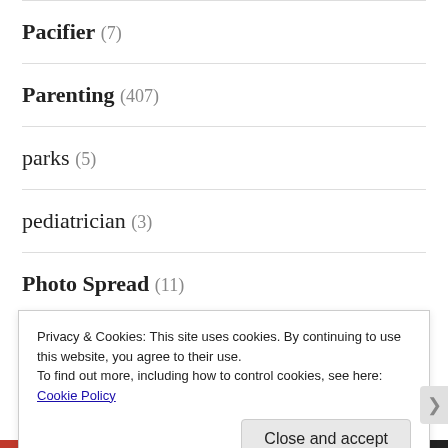Pacifier (7)
Parenting (407)
parks (5)
pediatrician (3)
Photo Spread (11)
Physical Training (1)
Planting (1)
Privacy & Cookies: This site uses cookies. By continuing to use this website, you agree to their use. To find out more, including how to control cookies, see here: Cookie Policy
Close and accept